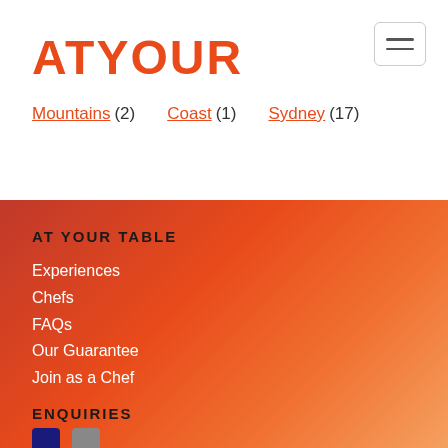AT YOUR TABLE
Mountains (2)
Coast (1)
Sydney (17)
AT YOUR TABLE
Experiences
Chefs
FAQs
Our Guarantee
Join as a Chef
ENQUIRIES